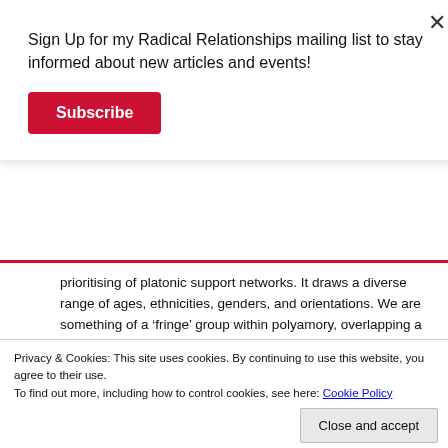Sign Up for my Radical Relationships mailing list to stay informed about new articles and events!
Subscribe
prioritising of platonic support networks. It draws a diverse range of ages, ethnicities, genders, and orientations. We are something of a ‘fringe’ group within polyamory, overlapping a lot with Relationship Anarchy in our desire for sovereignty within relationships, and an aspiration for interdependence. In a world that seems to revolve around monogamous, dyadic coupledom, we eschew the idea that being a successful grown up means becoming a productive member of coupled-up consumer society.
Privacy & Cookies: This site uses cookies. By continuing to use this website, you agree to their use.
To find out more, including how to control cookies, see here: Cookie Policy
Close and accept